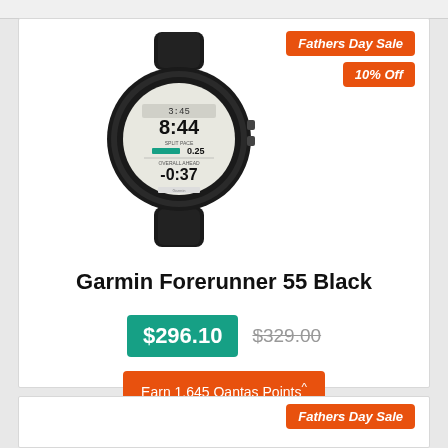[Figure (photo): Garmin Forerunner 55 Black smartwatch showing running metrics on display: 8:44, SPLIT PACE 0.25, OVERALL AHEAD -0:37]
Fathers Day Sale
10% Off
Garmin Forerunner 55 Black
$296.10  $329.00
Earn 1,645 Qantas Points^
Fathers Day Sale